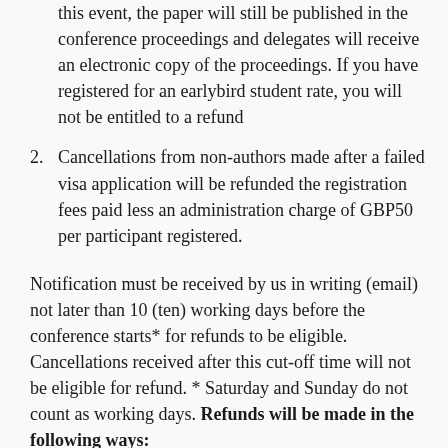this event, the paper will still be published in the conference proceedings and delegates will receive an electronic copy of the proceedings. If you have registered for an earlybird student rate, you will not be entitled to a refund
Cancellations from non-authors made after a failed visa application will be refunded the registration fees paid less an administration charge of GBP50 per participant registered.
Notification must be received by us in writing (email) not later than 10 (ten) working days before the conference starts* for refunds to be eligible. Cancellations received after this cut-off time will not be eligible for refund. * Saturday and Sunday do not count as working days. Refunds will be made in the following ways: